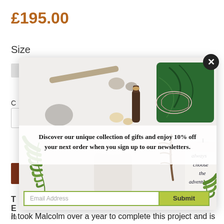£195.00
Size
[Figure (photo): Modal popup overlay showing a flat lay photo of gift items: driftwood, stones, essential oil bottle, tropical leaf pouch, green fern leaves, white candle, handwritten 'always choose the adventure' card, and a white ceramic vase. Overlaid with a promotional text banner and email signup form.]
Discover our unique collection of gifts and enjoy 10% off your next order when you sign up to our newsletters.
It took Malcolm over a year to complete this project and is